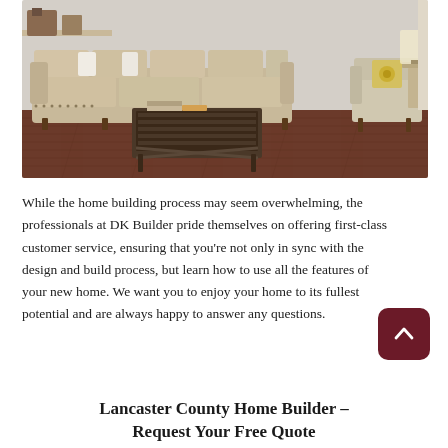[Figure (photo): Interior photo of a cozy living room with a beige linen sofa with nailhead trim, a dark wood slatted coffee table, hardwood floors, a cushioned armchair with a floral pillow, and a side table with a lamp.]
While the home building process may seem overwhelming, the professionals at DK Builder pride themselves on offering first-class customer service, ensuring that you're not only in sync with the design and build process, but learn how to use all the features of your new home. We want you to enjoy your home to its fullest potential and are always happy to answer any questions.
Lancaster County Home Builder – Request Your Free Quote